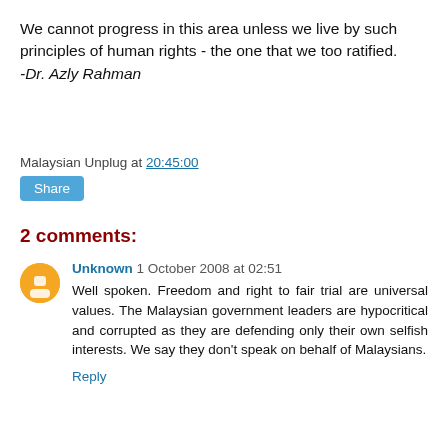We cannot progress in this area unless we live by such principles of human rights - the one that we too ratified. -Dr. Azly Rahman
Malaysian Unplug at 20:45:00
Share
2 comments:
Unknown 1 October 2008 at 02:51
Well spoken. Freedom and right to fair trial are universal values. The Malaysian government leaders are hypocritical and corrupted as they are defending only their own selfish interests. We say they don't speak on behalf of Malaysians.
Reply